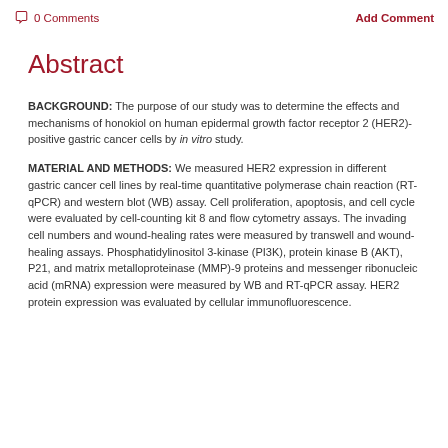0 Comments  Add Comment
Abstract
BACKGROUND: The purpose of our study was to determine the effects and mechanisms of honokiol on human epidermal growth factor receptor 2 (HER2)-positive gastric cancer cells by in vitro study.
MATERIAL AND METHODS: We measured HER2 expression in different gastric cancer cell lines by real-time quantitative polymerase chain reaction (RT-qPCR) and western blot (WB) assay. Cell proliferation, apoptosis, and cell cycle were evaluated by cell-counting kit 8 and flow cytometry assays. The invading cell numbers and wound-healing rates were measured by transwell and wound-healing assays. Phosphatidylinositol 3-kinase (PI3K), protein kinase B (AKT), P21, and matrix metalloproteinase (MMP)-9 proteins and messenger ribonucleic acid (mRNA) expression were measured by WB and RT-qPCR assay. HER2 protein expression was evaluated by cellular immunofluorescence.